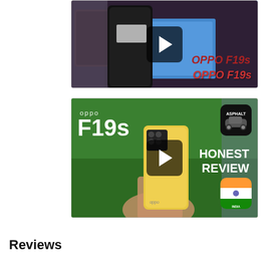[Figure (screenshot): Video thumbnail showing OPPO F19s phone (back, dark color) on a surface with blue OPPO F19s branding visible, with a play button overlay]
[Figure (screenshot): Video thumbnail titled 'oppo F19s HONEST REVIEW' showing a hand holding a gold/yellow OPPO F19s phone against a green background, with Asphalt and Battleground Mobile India app icons visible, and a play button overlay]
Reviews